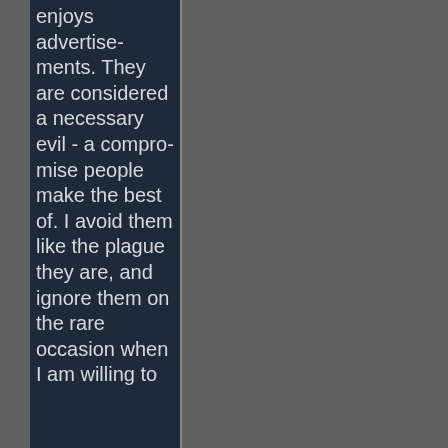enjoys advertisements. They are considered a necessary evil - a compromise people make the best of. I avoid them like the plague they are, and ignore them on the rare occasion when I am willing to